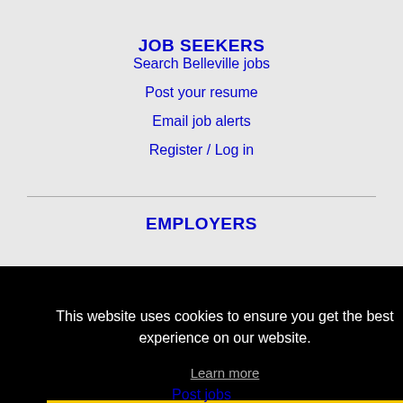JOB SEEKERS
Search Belleville jobs
Post your resume
Email job alerts
Register / Log in
EMPLOYERS
This website uses cookies to ensure you get the best experience on our website.
Learn more
Got it!
Post jobs